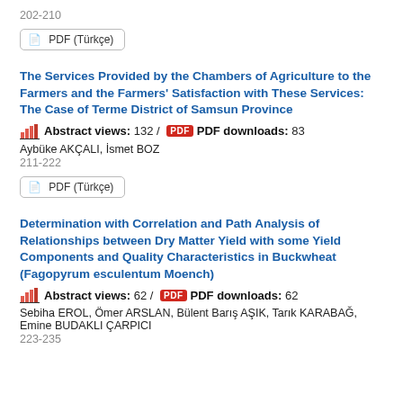202-210
PDF (Türkçe)
The Services Provided by the Chambers of Agriculture to the Farmers and the Farmers' Satisfaction with These Services: The Case of Terme District of Samsun Province
Abstract views: 132 / PDF downloads: 83
Aybüke AKÇALI, İsmet BOZ
211-222
PDF (Türkçe)
Determination with Correlation and Path Analysis of Relationships between Dry Matter Yield with some Yield Components and Quality Characteristics in Buckwheat (Fagopyrum esculentum Moench)
Abstract views: 62 / PDF downloads: 62
Sebiha EROL, Ömer ARSLAN, Bülent Barış AŞIK, Tarık KARABAĞ, Emine BUDAKLI ÇARPICI
223-235